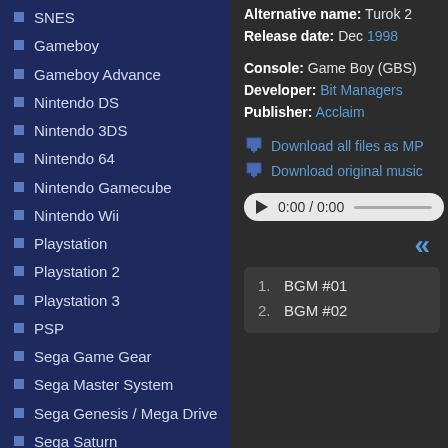SNES
Gameboy
Gameboy Advance
Nintendo DS
Nintendo 3DS
Nintendo 64
Nintendo Gamecube
Nintendo Wii
Playstation
Playstation 2
Playstation 3
PSP
Sega Game Gear
Sega Master System
Sega Genesis / Mega Drive
Sega Saturn
Sega Dreamcast
TurboGrafx-16
Xbox
Xbox 360
Alternative name: Turok 2
Release date: Dec 1998
Console: Game Boy (GBS)
Developer: Bit Managers
Publisher: Acclaim
Download all files as MP...
Download original music...
0:00 / 0:00
«
| # | Track |
| --- | --- |
| 1. | BGM #01 |
| 2. | BGM #02 |